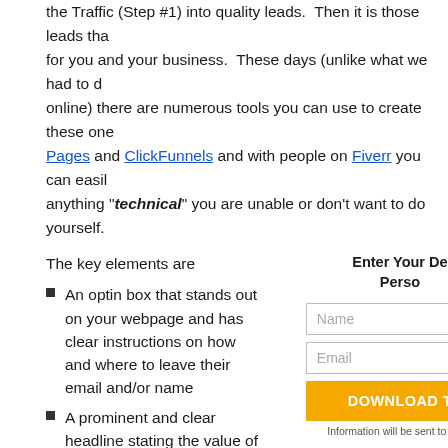the Traffic (Step #1) into quality leads. Then it is those leads that for you and your business. These days (unlike what we had to do online) there are numerous tools you can use to create these one Pages and ClickFunnels and with people on Fiverr you can easily anything "technical" you are unable or don't want to do yourself.
The key elements are
Enter Your De… Perso…
An optin box that stands out on your webpage and has clear instructions on how and where to leave their email and/or name
A prominent and clear headline stating the value of what your lead will be getting in exchange for giving their nam…
Image of your free gift – show them what they are getting in e…
Step #3 Building A Database : Collecting emails (or names and… a database – a database that is stored safely and which you ca…